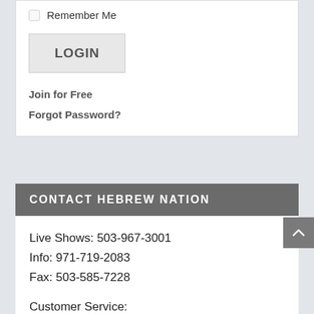Remember Me
LOGIN
Join for Free
Forgot Password?
CONTACT HEBREW NATION
Live Shows: 503-967-3001
Info: 971-719-2083
Fax: 503-585-7228
Customer Service:
Radio@T2TN.com